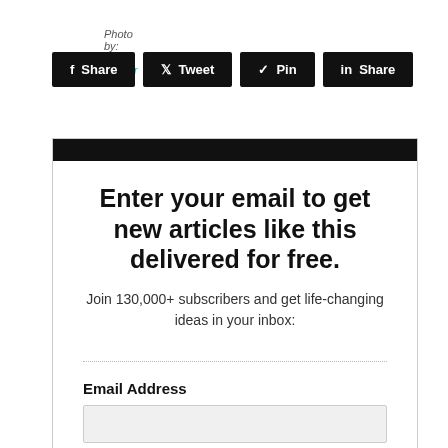Photo by: Kim Carrier
[Figure (other): Social sharing buttons: Facebook Share, Twitter Tweet, Pinterest Pin, LinkedIn Share]
Enter your email to get new articles like this delivered for free.
Join 130,000+ subscribers and get life-changing ideas in your inbox:
Email Address